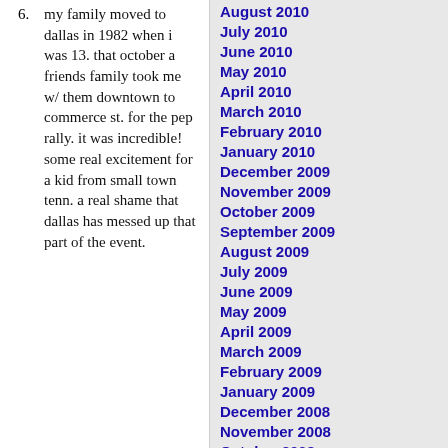6. my family moved to dallas in 1982 when i was 13. that october a friends family took me w/ them downtown to commerce st. for the pep rally. it was incredible! some real excitement for a kid from small town tenn. a real shame that dallas has messed up that part of the event.
August 2010
July 2010
June 2010
May 2010
April 2010
March 2010
February 2010
January 2010
December 2009
November 2009
October 2009
September 2009
August 2009
July 2009
June 2009
May 2009
April 2009
March 2009
February 2009
January 2009
December 2008
November 2008
October 2008
September 2008
August 2008
July 2008
June 2008
May 2008
April 2008
March 2008
February 2008
January 2008